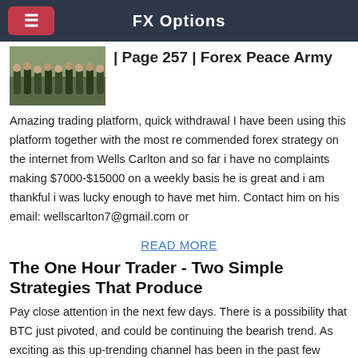FX Options
[Figure (photo): Thumbnail photo of people standing in a row outdoors]
| Page 257 | Forex Peace Army
Amazing trading platform, quick withdrawal I have been using this platform together with the most re commended forex strategy on the internet from Wells Carlton and so far i have no complaints making $7000-$15000 on a weekly basis he is great and i am thankful i was lucky enough to have met him. Contact him on his email: wellscarlton7@gmail.com or
READ MORE
The One Hour Trader - Two Simple Strategies That Produce
Pay close attention in the next few days. There is a possibility that BTC just pivoted, and could be continuing the bearish trend. As exciting as this up-trending channel has been in the past few days, I would exercise caution because the price line just printed a new